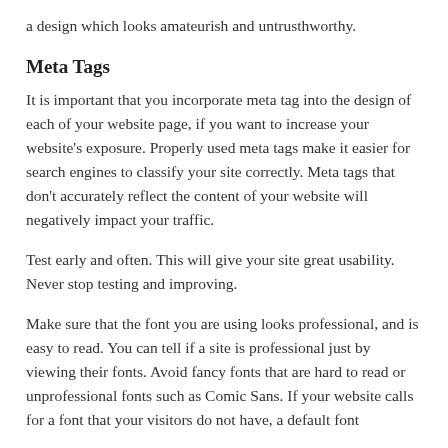a design which looks amateurish and untrusthworthy.
Meta Tags
It is important that you incorporate meta tag into the design of each of your website page, if you want to increase your website's exposure. Properly used meta tags make it easier for search engines to classify your site correctly. Meta tags that don't accurately reflect the content of your website will negatively impact your traffic.
Test early and often. This will give your site great usability. Never stop testing and improving.
Make sure that the font you are using looks professional, and is easy to read. You can tell if a site is professional just by viewing their fonts. Avoid fancy fonts that are hard to read or unprofessional fonts such as Comic Sans. If your website calls for a font that your visitors do not have, a default font